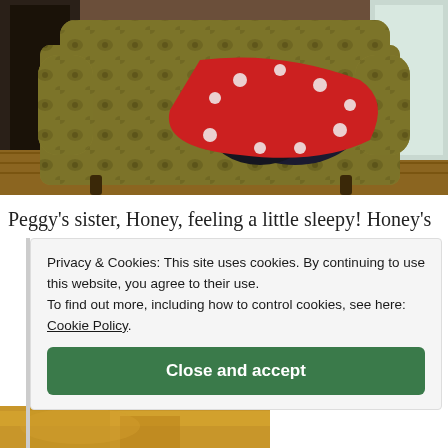[Figure (photo): A floral-patterned armchair or loveseat with a red polka-dot blanket and a dark navy object draped over it, photographed in a home interior setting with wooden floor and window in background.]
Peggy's sister, Honey, feeling a little sleepy! Honey's
Privacy & Cookies: This site uses cookies. By continuing to use this website, you agree to their use.
To find out more, including how to control cookies, see here: Cookie Policy.
Close and accept
[Figure (photo): Partial view of a golden/blonde colored animal (likely a dog) at the bottom of the page, partially cut off.]